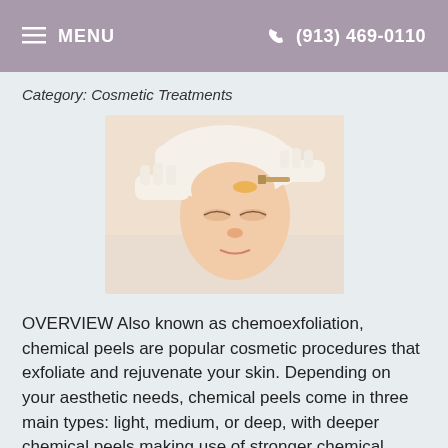≡ MENU   ☎ (913) 469-0110
Category: Cosmetic Treatments
[Figure (photo): Woman lying down receiving a cosmetic skin treatment on her face, with a white towel wrapped around her hair and gloved hands applying product to her forehead.]
OVERVIEW Also known as chemoexfoliation, chemical peels are popular cosmetic procedures that exfoliate and rejuvenate your skin. Depending on your aesthetic needs, chemical peels come in three main types: light, medium, or deep, with deeper chemical peels making use of stronger chemical agents to treat
Read more